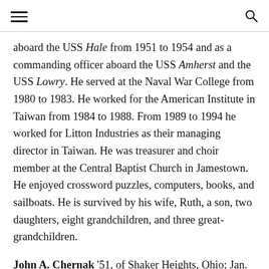[navigation bar with hamburger menu and search icon]
aboard the USS Hale from 1951 to 1954 and as a commanding officer aboard the USS Amherst and the USS Lowry. He served at the Naval War College from 1980 to 1983. He worked for the American Institute in Taiwan from 1984 to 1988. From 1989 to 1994 he worked for Litton Industries as their managing director in Taiwan. He was treasurer and choir member at the Central Baptist Church in Jamestown. He enjoyed crossword puzzles, computers, books, and sailboats. He is survived by his wife, Ruth, a son, two daughters, eight grandchildren, and three great-grandchildren.
John A. Chernak '51, of Shaker Heights, Ohio; Jan. 22. He was the president of Tomlinson's Industries in Cleveland and vice president of the National Association of Food